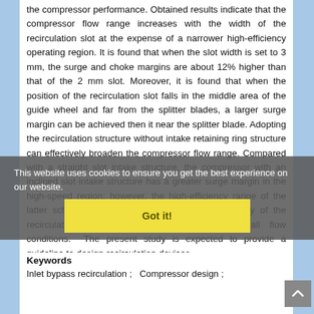the compressor performance. Obtained results indicate that the compressor flow range increases with the width of the recirculation slot at the expense of a narrower high-efficiency operating region. It is found that when the slot width is set to 3 mm, the surge and choke margins are about 12% higher than that of the 2 mm slot. Moreover, it is found that when the position of the recirculation slot falls in the middle area of the guide wheel and far from the splitter blades, a larger surge margin can be achieved then it near the splitter blade. Adopting the recirculation structure without intake retaining ring structure can effectively broaden the compressor flow range. Compared with a straight slot intake structure, the compressor with an inclined slot intake structure has a greater surge margin in the high-speed region; however, the high-efficiency range of the latter scheme is smaller. Furthermore, the efficiency of the recirculation structure is slightly higher at small flow conditions. The present study is expected to provide a guideline to design recirculation devices.
This website uses cookies to ensure you get the best experience on our website.
Got it!
Keywords
Inlet bypass recirculation ;   Compressor design ;